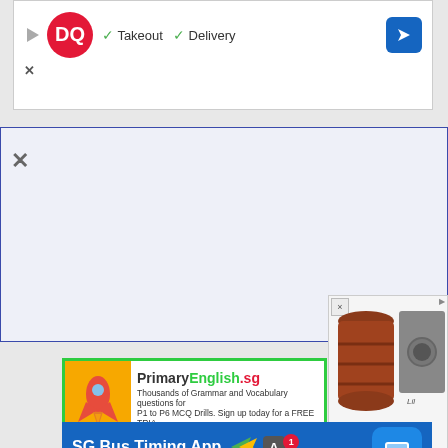[Figure (screenshot): Dairy Queen ad banner showing DQ logo, Takeout and Delivery checkmarks, and navigation arrow button]
[Figure (screenshot): Large light-blue empty content panel with dark blue border, close X button on left]
[Figure (screenshot): Product advertisement showing a brown barrel/drum image and a slate with hole, labeled 4 State Trucks]
[Figure (screenshot): PrimaryEnglish.sg advertisement banner with rocket icon, green border, offering Grammar and Vocabulary MCQ drills for P1 to P6]
Primary School English Grammar and Vocabu...
[Figure (screenshot): SG Bus Timing App advertisement on blue background with Google Play and App Store icons and bus icon]